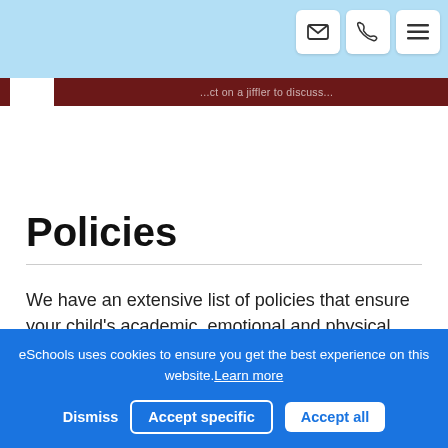Policies
We have an extensive list of policies that ensure your child's academic, emotional and physical wellbeing
eSchools uses cookies to ensure you get the best experience on this website.Learn more
Dismiss  Accept specific  Accept all